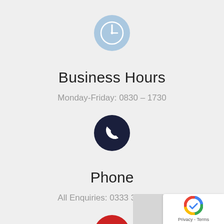[Figure (illustration): Light blue circle with white clock icon]
Business Hours
Monday-Friday: 0830 – 1730
[Figure (illustration): Dark navy blue circle with white phone/handset icon]
Phone
All Enquiries: 0333 335 1012
[Figure (illustration): Red circle with white envelope/email icon]
[Figure (other): Google reCAPTCHA badge overlay in bottom-right corner showing logo and Privacy/Terms text]